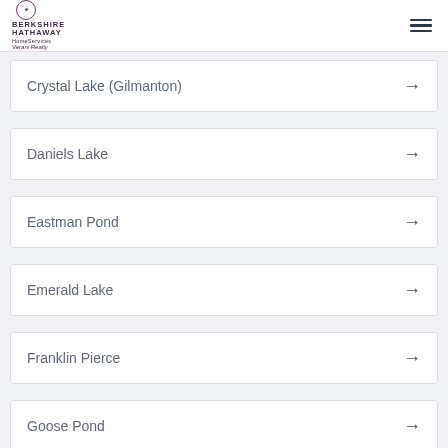Berkshire Hathaway HomeServices Verani Realty
Crystal Lake (Gilmanton)
Daniels Lake
Eastman Pond
Emerald Lake
Franklin Pierce
Goose Pond